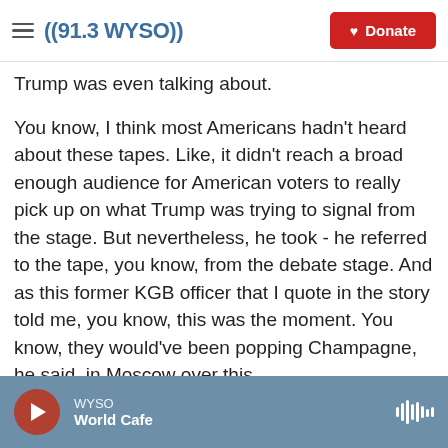91.3 WYSO | Donate
Trump was even talking about.
You know, I think most Americans hadn't heard about these tapes. Like, it didn't reach a broad enough audience for American voters to really pick up on what Trump was trying to signal from the stage. But nevertheless, he took - he referred to the tape, you know, from the debate stage. And as this former KGB officer that I quote in the story told me, you know, this was the moment. You know, they would've been popping Champagne, he said, in Moscow over this.
GROSS: So let's talk a little bit more about who
WYSO | World Cafe